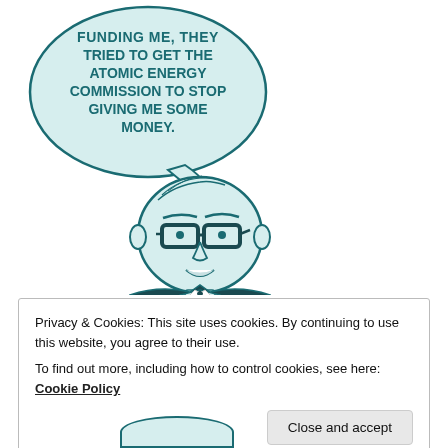[Figure (illustration): Cartoon illustration of a man with glasses wearing a dark suit, with a speech bubble saying 'FUNDING ME, THEY TRIED TO GET THE ATOMIC ENERGY COMMISSION TO STOP GIVING ME SOME MONEY.']
Privacy & Cookies: This site uses cookies. By continuing to use this website, you agree to their use.
To find out more, including how to control cookies, see here: Cookie Policy
Close and accept